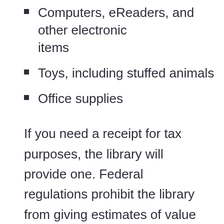Computers, eReaders, and other electronic items
Toys, including stuffed animals
Office supplies
If you need a receipt for tax purposes, the library will provide one. Federal regulations prohibit the library from giving estimates of value for donated materials. Receipts are available at the reference desk upon request.
Monetary Donations
Monetary donations are also welcome and will be